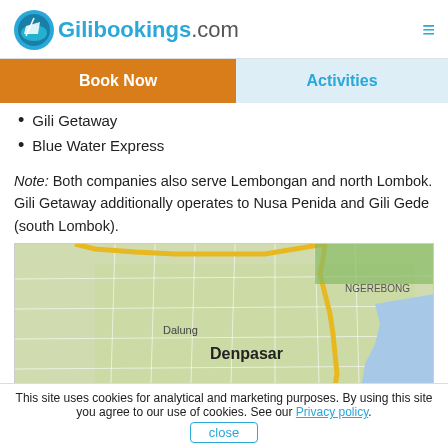Gilibookings.com
Gili Getaway
Blue Water Express
Note: Both companies also serve Lembongan and north Lombok. Gili Getaway additionally operates to Nusa Penida and Gili Gede (south Lombok).
[Figure (map): Google map showing Denpasar area, Bali, Indonesia. Visible locations include Ngerebong, Dalung, Denpasar (bold label), Pesanggaran, Kuta. Coastal area visible to the right and bottom.]
This site uses cookies for analytical and marketing purposes. By using this site you agree to our use of cookies. See our Privacy policy. close